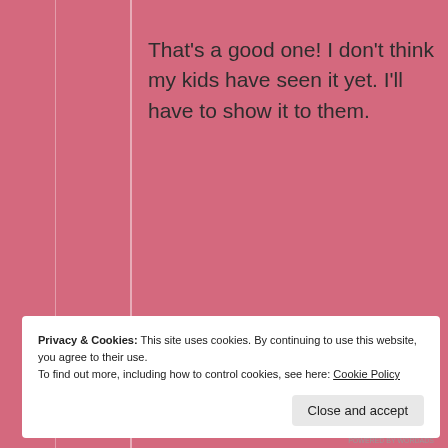That's a good one! I don't think my kids have seen it yet. I'll have to show it to them.
★ Liked by 1 person
[Figure (screenshot): WordPress 'Post on the go.' app advertisement banner with GET THE APP text and WordPress logo]
Privacy & Cookies: This site uses cookies. By continuing to use this website, you agree to their use.
To find out more, including how to control cookies, see here: Cookie Policy
Close and accept